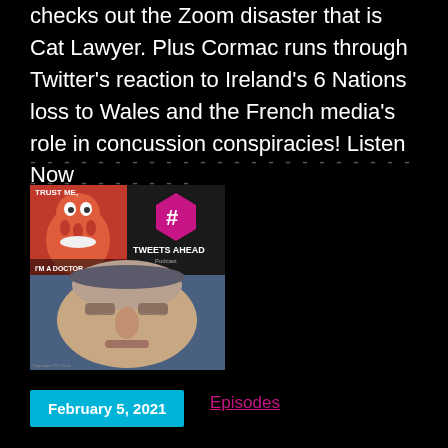checks out the Zoom disaster that is Cat Lawyer. Plus Cormac runs through Twitter's reaction to Ireland's 6 Nations loss to Wales and the French media's role in concussion conspiracies! Listen Now
- - - - - - - - - - - - - - - - - - - - - - - - - - - - - - - - - - - -
[Figure (photo): Composite image: top half shows a Futurama Zoidberg meme with text 'TRUST ME, I'M A DOCTOR' alongside a Tweets Ahead Podcast logo with hashtag symbol; bottom half shows a close-up face of an older man in a video call.]
February 5, 2021
Episodes